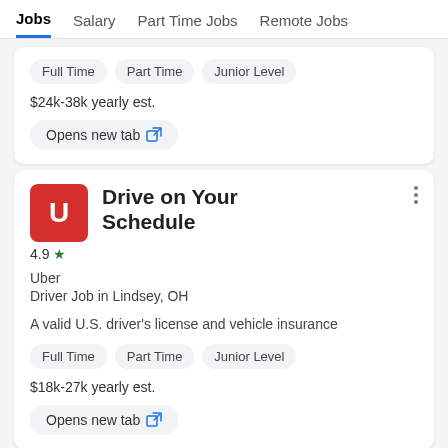Jobs  Salary  Part Time Jobs  Remote Jobs
Full Time  Part Time  Junior Level
$24k-38k yearly est.
Opens new tab
[Figure (logo): Red square logo with white letter U for Uber]
Drive on Your Schedule
Uber
Driver Job in Lindsey, OH
A valid U.S. driver's license and vehicle insurance
Full Time  Part Time  Junior Level
$18k-27k yearly est.
Opens new tab